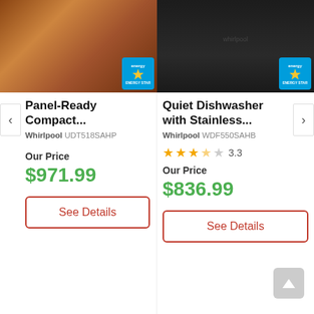[Figure (photo): Panel-Ready Compact dishwasher product image showing wood-panel finish with Energy Star badge]
Panel-Ready Compact...
Whirlpool UDT518SAHP
Our Price
$971.99
See Details
[Figure (photo): Quiet Dishwasher with Stainless product image showing black finish with Energy Star badge]
Quiet Dishwasher with Stainless...
Whirlpool WDF550SAHB
3.3 stars rating
Our Price
$836.99
See Details